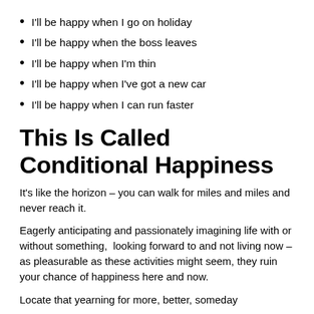I'll be happy when I go on holiday
I'll be happy when the boss leaves
I'll be happy when I'm thin
I'll be happy when I've got a new car
I'll be happy when I can run faster
This Is Called Conditional Happiness
It's like the horizon – you can walk for miles and miles and never reach it.
Eagerly anticipating and passionately imagining life with or without something,  looking forward to and not living now – as pleasurable as these activities might seem, they ruin your chance of happiness here and now.
Locate that yearning for more, better, someday